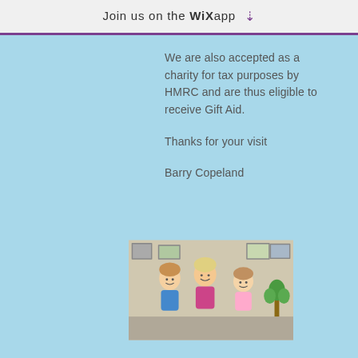Join us on the WiX app ⬇
We are also accepted as a charity for tax purposes by HMRC and are thus eligible to receive Gift Aid.
Thanks for your visit
Barry Copeland
[Figure (photo): Photo of children sitting together in a classroom or activity room setting, smiling at the camera]